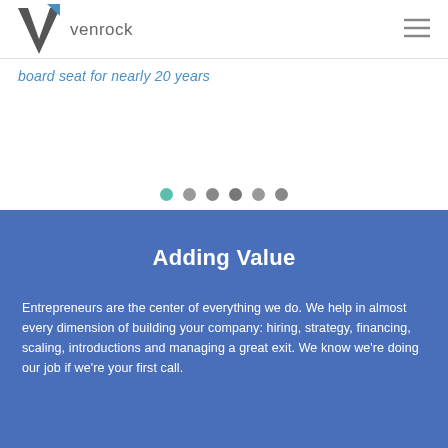venrock
board seat for nearly 20 years
[Figure (other): Carousel navigation dots, 6 dots total, first dot is teal/green active, rest are gray]
Adding Value
Entrepreneurs are the center of everything we do. We help in almost every dimension of building your company: hiring, strategy, financing, scaling, introductions and managing a great exit. We know we're doing our job if we're your first call.